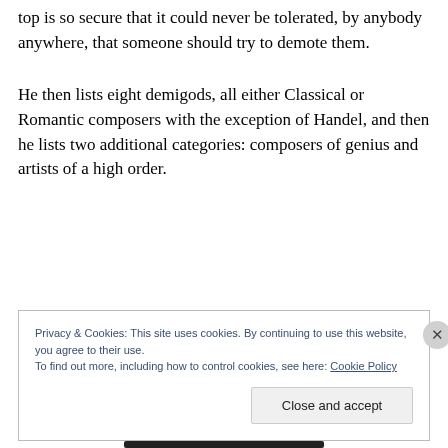top is so secure that it could never be tolerated, by anybody anywhere, that someone should try to demote them.
He then lists eight demigods, all either Classical or Romantic composers with the exception of Handel, and then he lists two additional categories: composers of genius and artists of a high order.
Privacy & Cookies: This site uses cookies. By continuing to use this website, you agree to their use.
To find out more, including how to control cookies, see here: Cookie Policy
[Close and accept]